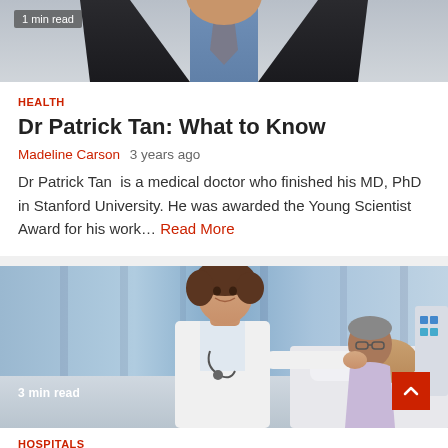[Figure (photo): Top portion of man in suit and tie, cropped at chest level. Badge overlay reads '1 min read'.]
HEALTH
Dr Patrick Tan: What to Know
Madeline Carson  3 years ago
Dr Patrick Tan  is a medical doctor who finished his MD, PhD in Stanford University. He was awarded the Young Scientist Award for his work... Read More
[Figure (photo): Doctor (female, white coat, stethoscope) attending to elderly male patient in hospital bed with blue curtain background. Badge overlay reads '3 min read'. Red scroll-to-top button in bottom right.]
HOSPITALS